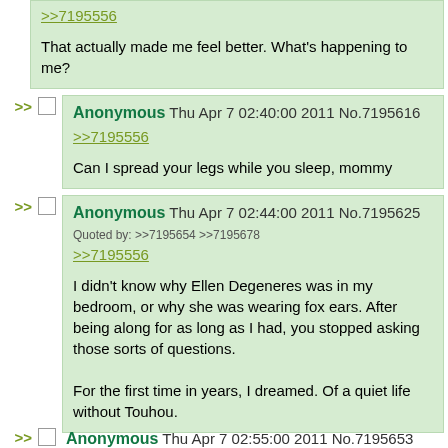>>7195556

That actually made me feel better. What's happening to me?
Anonymous Thu Apr 7 02:40:00 2011 No.7195616

>>7195556

Can I spread your legs while you sleep, mommy
Anonymous Thu Apr 7 02:44:00 2011 No.7195625
Quoted by: >>7195654 >>7195678

>>7195556

I didn't know why Ellen Degeneres was in my bedroom, or why she was wearing fox ears. After being along for as long as I had, you stopped asking those sorts of questions.

For the first time in years, I dreamed. Of a quiet life without Touhou.
Anonymous Thu Apr 7 02:55:00 2011 No.7195653